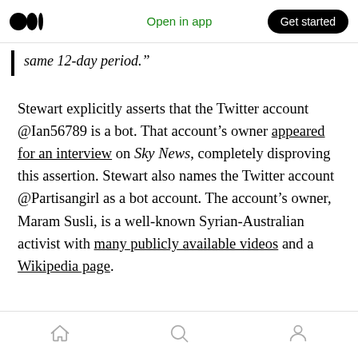Medium logo | Open in app | Get started
same 12-day period.”
Stewart explicitly asserts that the Twitter account @Ian56789 is a bot. That account’s owner appeared for an interview on Sky News, completely disproving this assertion. Stewart also names the Twitter account @Partisangirl as a bot account. The account’s owner, Maram Susli, is a well-known Syrian-Australian activist with many publicly available videos and a Wikipedia page.
Home | Search | Profile